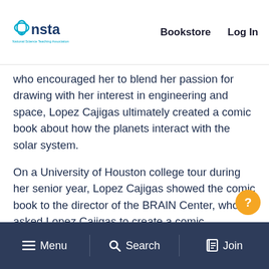NSTA – National Science Teaching Association | Bookstore | Log In
who encouraged her to blend her passion for drawing with her interest in engineering and space, Lopez Cajigas ultimately created a comic book about how the planets interact with the solar system.
On a University of Houston college tour during her senior year, Lopez Cajigas showed the comic book to the director of the BRAIN Center, who asked Lopez Cajigas to create a comic neurotechnology-themed book for the center using a grant from the National Science Foundation. The result of her efforts is this book, which describes various neurotechnology projects at the BRAIN center and
Menu | Search | Join